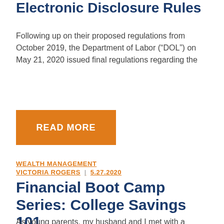Electronic Disclosure Rules
Following up on their proposed regulations from October 2019, the Department of Labor (“DOL”) on May 21, 2020 issued final regulations regarding the
[Figure (other): Orange READ MORE button]
WEALTH MANAGEMENT
VICTORIA ROGERS  |  5.27.2020
Financial Boot Camp Series: College Savings 101
As young parents, my husband and I met with a financial planner who asked about college savings. We